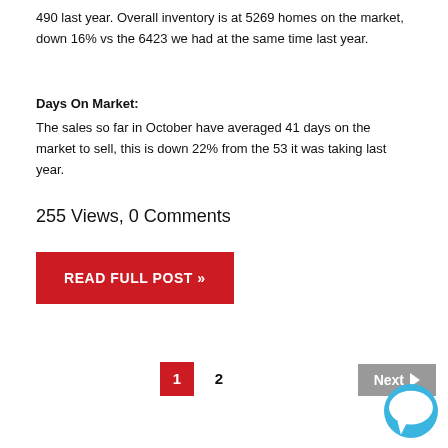490 last year. Overall inventory is at 5269 homes on the market, down 16% vs the 6423 we had at the same time last year.
Days On Market:
The sales so far in October have averaged 41 days on the market to sell, this is down 22% from the 53 it was taking last year.
255 Views, 0 Comments
READ FULL POST »
1  2  Next ▶